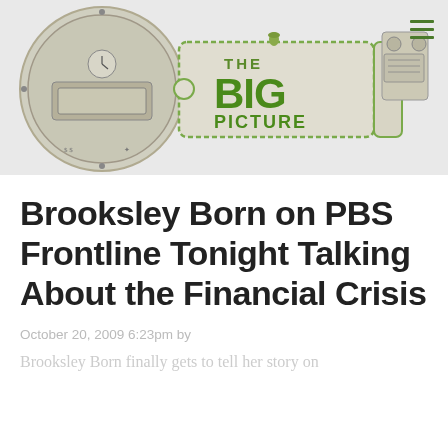[Figure (logo): The Big Picture logo — a decorative circular engraving-style illustration on the left (dollar bill imagery, key shape), with 'THE BIG PICTURE' text in green, and a mechanical/industrial engraving illustration on the right. Hamburger menu icon in top-right corner.]
Brooksley Born on PBS Frontline Tonight Talking About the Financial Crisis
October 20, 2009 6:23pm by
Brooksley Born finally gets to tell her story on